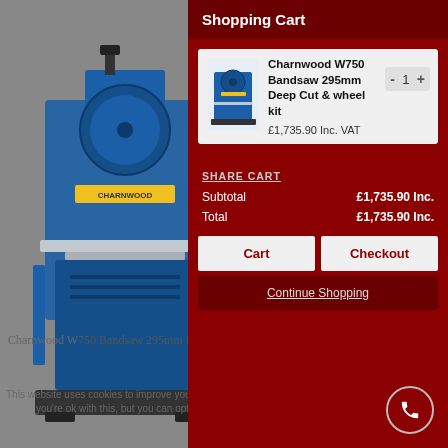Shopping Cart
[Figure (photo): Charnwood W750 Bandsaw machine, blue color, shown in background on left side of page]
Charnwood W750 Bandsaw 295mm Deep Cut...
| Product | Quantity | Price |
| --- | --- | --- |
| Charnwood W750 Bandsaw 295mm Deep Cut & wheel kit | 1 | £1,735.90 Inc. VAT |
SHARE CART
Subtotal £1,735.90 Inc.
Total £1,735.90 Inc.
Cart
Checkout
Continue Shopping
This website uses cookies to improve your experience. We'll assume you're ok with this, but you can opt-out if you wish.